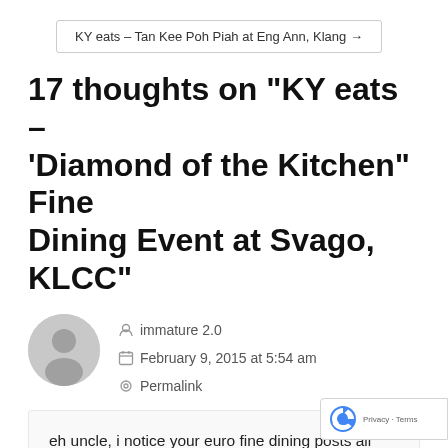KY eats – Tan Kee Poh Piah at Eng Ann, Klang →
17 thoughts on “KY eats – ‘Diamond of the Kitchen” Fine Dining Event at Svago, KLCC”
immature 2.0
February 9, 2015 at 5:54 am
Permalink
eh uncle, i notice your euro fine dining posts all very quiet wan, but if post CKT, nasi kandar or nyonya food, PHWAAHHH all types of people flock here wan..... ah fei jai, political journalist, miranda sing, dr doolittle, and more